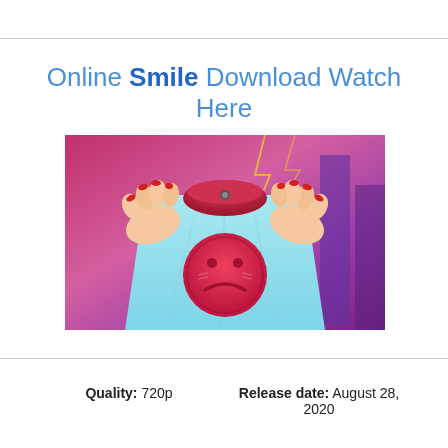Online Smile Download Watch Here
[Figure (illustration): Anime-style illustration showing hands holding up a light blue shirt with a red sad-face emoji/badge on it, against a pink/purple background with lightning.]
Quality: 720p
Release date: August 28, 2020